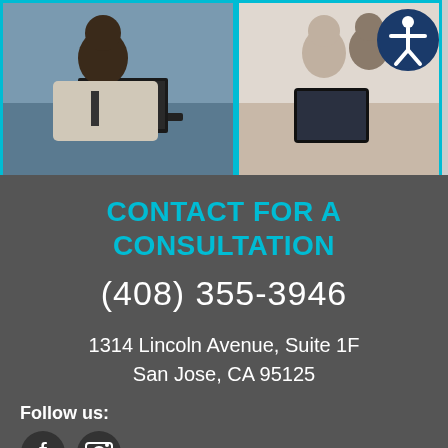[Figure (photo): Two photos side by side: left shows a man in a suit smiling while working on a laptop; right shows an elderly couple looking at a tablet together. An accessibility icon (person in circle) appears in the top right corner.]
CONTACT FOR A CONSULTATION
(408) 355-3946
1314 Lincoln Avenue, Suite 1F
San Jose, CA 95125
Schedule NOW
Follow us: